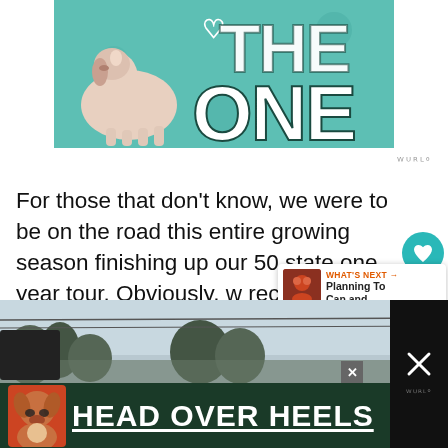[Figure (illustration): Teal/green promotional image with a dog (light-colored, possibly Weimaraner or similar breed) on the left and large bold text 'THE ONE' on the right with a heart icon]
For those that don't know, we were to be on the road this entire growing season finishing up our 50 state one year tour. Obviously, w recent the events that have transpired, that plan has changed drastically.
[Figure (photo): Partial outdoor photo visible at bottom, showing trees and sky]
[Figure (illustration): Advertisement banner: dark green background with a dog image on the left and bold white underlined text 'HEAD OVER HEELS']